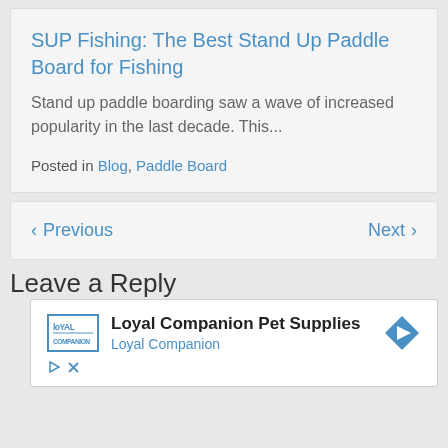SUP Fishing: The Best Stand Up Paddle Board for Fishing
Stand up paddle boarding saw a wave of increased popularity in the last decade. This...
Posted in Blog, Paddle Board
< Previous    Next >
Leave a Reply
[Figure (other): Advertisement for Loyal Companion Pet Supplies with logo, brand name, and navigation arrow icon]